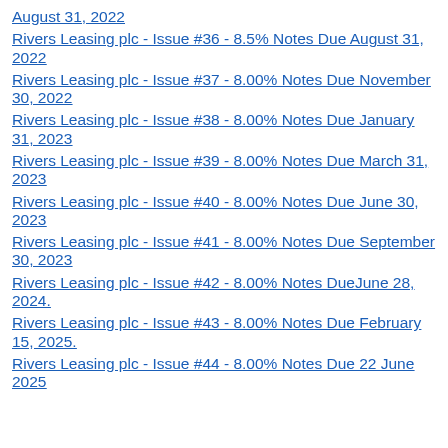August 31, 2022
Rivers Leasing plc - Issue #36 - 8.5% Notes Due August 31, 2022
Rivers Leasing plc - Issue #37 - 8.00% Notes Due November 30, 2022
Rivers Leasing plc - Issue #38 - 8.00% Notes Due January 31, 2023
Rivers Leasing plc - Issue #39 - 8.00% Notes Due March 31, 2023
Rivers Leasing plc - Issue #40 - 8.00% Notes Due June 30, 2023
Rivers Leasing plc - Issue #41 - 8.00% Notes Due September 30, 2023
Rivers Leasing plc - Issue #42 - 8.00% Notes DueJune 28, 2024.
Rivers Leasing plc - Issue #43 - 8.00% Notes Due February 15, 2025.
Rivers Leasing plc - Issue #44 - 8.00% Notes Due 22 June 2025